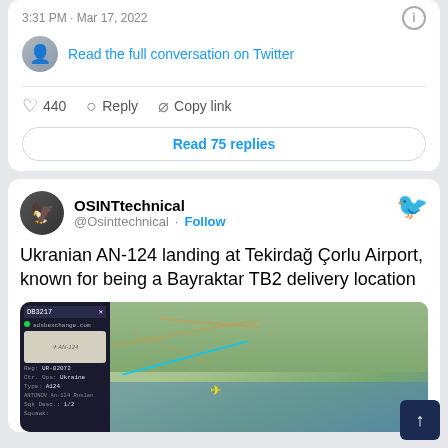3:31 PM · Mar 17, 2022
Read the full conversation on Twitter
440  Reply  Copy link
Read 75 replies
OSINTtechnical
@Osinttechnical · Follow
Ukranian AN-124 landing at Tekirdağ Çorlu Airport, known for being a Bayraktar TB2 delivery location
[Figure (screenshot): Split image showing flight tracking app panel on left and map on right with flight path near coastal area]